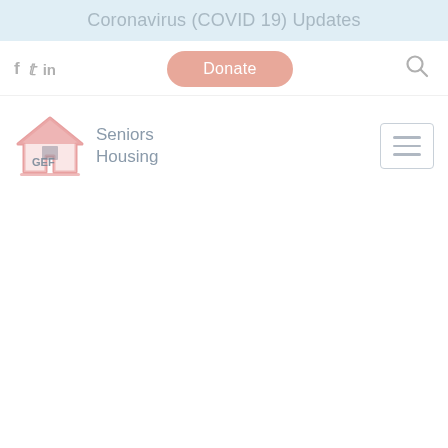Coronavirus (COVID 19) Updates
[Figure (logo): GEF Seniors Housing logo with house icon and text]
Donate
f  t  in